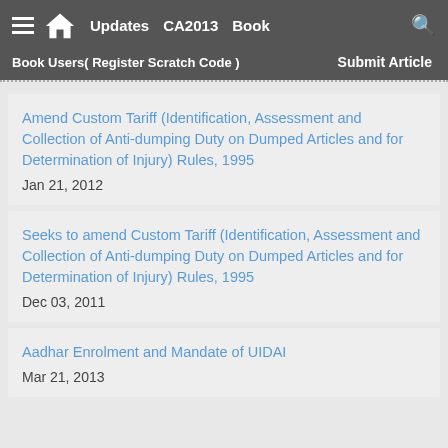Updates  CA2013  Book  Book Users( Register Scratch Code )  Submit Article
Amend Custom Tariff (Identification, Assessment and Collection of Anti-dumping Duty on Dumped Articles and for Determination of Injury) Rules, 1995
Jan 21, 2012
Seeks to amend Custom Tariff (Identification, Assessment and Collection of Anti-dumping Duty on Dumped Articles and for Determination of Injury) Rules, 1995
Dec 03, 2011
Aadhar Enrolment and Mandate of UIDAI
Mar 21, 2013